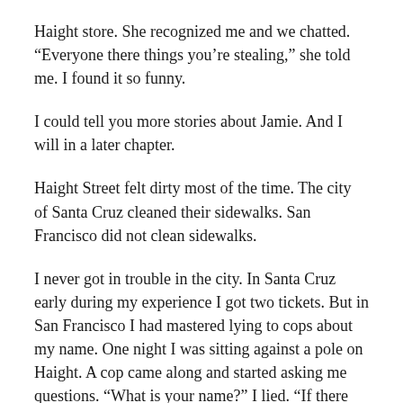Haight store. She recognized me and we chatted. “Everyone there things you’re stealing,” she told me. I found it so funny.
I could tell you more stories about Jamie. And I will in a later chapter.
Haight Street felt dirty most of the time. The city of Santa Cruz cleaned their sidewalks. San Francisco did not clean sidewalks.
I never got in trouble in the city. In Santa Cruz early during my experience I got two tickets. But in San Francisco I had mastered lying to cops about my name. One night I was sitting against a pole on Haight. A cop came along and started asking me questions. “What is your name?” I lied. “If there isn’t a record we’ll take you downtown.” I called his bluff, even though he pressured me. In the end he knew it was pointless and left me alone. The cops knew street kids lied about their names.